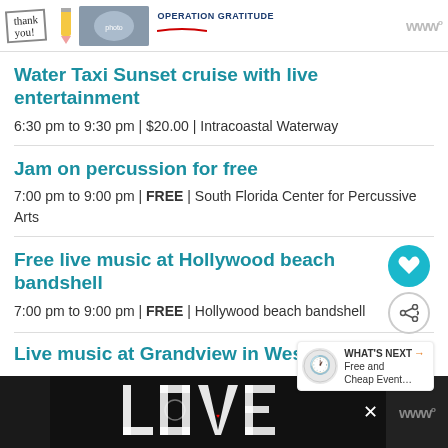[Figure (photo): Advertisement banner with 'thank you' text, photo of people holding cards, and Operation Gratitude logo]
Water Taxi Sunset cruise with live entertainment
6:30 pm to 9:30 pm | $20.00 | Intracoastal Waterway
Jam on percussion for free
7:00 pm to 9:00 pm | FREE | South Florida Center for Percussive Arts
Free live music at Hollywood beach bandshell
7:00 pm to 9:00 pm | FREE | Hollywood beach bandshell
Live music at Grandview in West Pa…
7:00 pm to 10:00 pm | FREE | Grandview Public Market
[Figure (photo): Bottom advertisement with decorative LOVE logo in black and white art style]